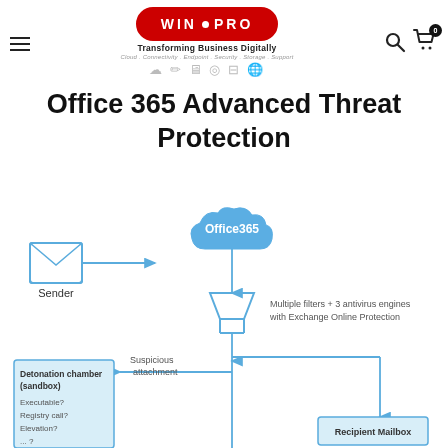WIN PRO — Transforming Business Digitally. Cloud . Connectivity . Endpoint . Security . Storage . Support
Office 365 Advanced Threat Protection
[Figure (flowchart): Flowchart showing Office 365 Advanced Threat Protection flow: Sender (envelope icon) sends to Office365 (cloud), which passes through a funnel filter (Multiple filters + 3 antivirus engines with Exchange Online Protection). Suspicious attachments go to Detonation chamber (sandbox) with checks: Executable? Registry call? Elevation? ...? Clean email proceeds to Recipient Mailbox.]